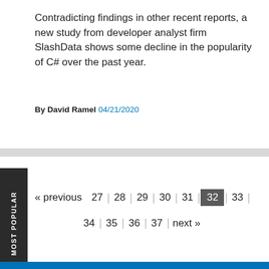Contradicting findings in other recent reports, a new study from developer analyst firm SlashData shows some decline in the popularity of C# over the past year.
By David Ramel 04/21/2020
MOST POPULAR
« previous 27 28 29 30 31 32 33 34 35 36 37 next »